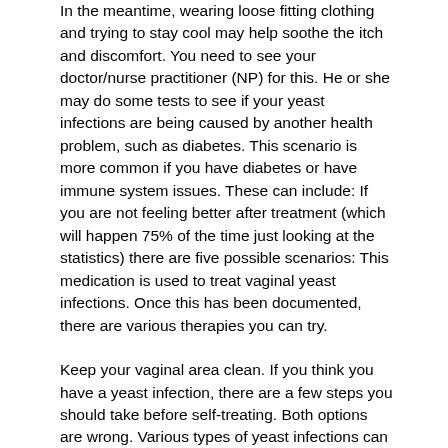In the meantime, wearing loose fitting clothing and trying to stay cool may help soothe the itch and discomfort. You need to see your doctor/nurse practitioner (NP) for this. He or she may do some tests to see if your yeast infections are being caused by another health problem, such as diabetes. This scenario is more common if you have diabetes or have immune system issues. These can include: If you are not feeling better after treatment (which will happen 75% of the time just looking at the statistics) there are five possible scenarios: This medication is used to treat vaginal yeast infections. Once this has been documented, there are various therapies you can try.
Keep your vaginal area clean. If you think you have a yeast infection, there are a few steps you should take before self-treating. Both options are wrong. Various types of yeast infections can also be treated with ketoconazole or nystatin. Or the type of yeast infection you have may respond better to one method than to the other. Chatwani AJ, Mehta R, Hassan S, et al. The cons are that it's the priciest on the list, and a few reviewers report experiencing irritation.
Daily consumption of yogurt with live cultures may help prevent VVC recurrences. Yeast thrives on sugar, so eating too much of it may increase your chance of developing the obnoxious infection, says Laurie Birkholz, M. Although you can have sex while using these products, it may be painful, and the medications may damage condoms and diaphragms. Some products also come with a skin